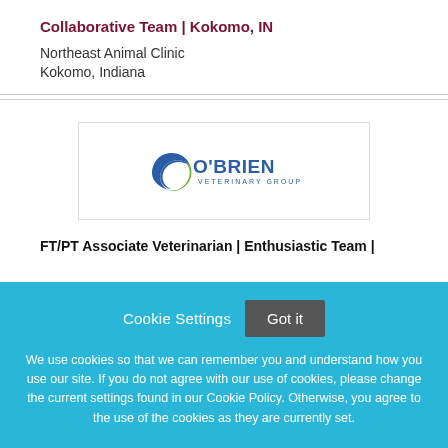Collaborative Team | Kokomo, IN
Northeast Animal Clinic
Kokomo, Indiana
[Figure (logo): O'Brien Veterinary Group logo with circular green and blue swoosh icon]
FT/PT Associate Veterinarian | Enthusiastic Team |
Cookie Settings  Got it

We use cookies so that we can remember you and understand how you use our site. If you do not agree with our use of cookies, please change the current settings found in our Cookie Policy. Otherwise, you agree to the use of the cookies as they are currently set.